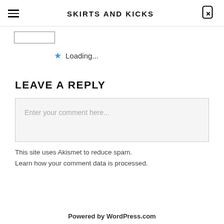SKIRTS AND KICKS
Loading...
LEAVE A REPLY
Enter your comment here...
This site uses Akismet to reduce spam. Learn how your comment data is processed.
Powered by WordPress.com